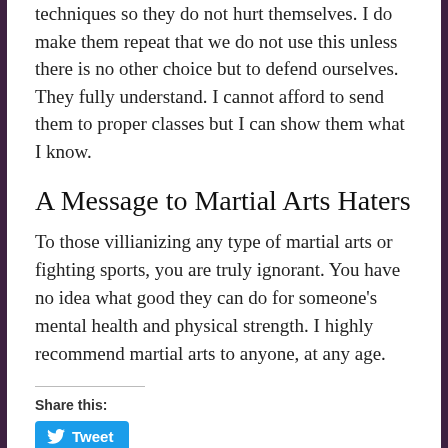techniques so they do not hurt themselves. I do make them repeat that we do not use this unless there is no other choice but to defend ourselves. They fully understand. I cannot afford to send them to proper classes but I can show them what I know.
A Message to Martial Arts Haters
To those villianizing any type of martial arts or fighting sports, you are truly ignorant. You have no idea what good they can do for someone's mental health and physical strength. I highly recommend martial arts to anyone, at any age.
Share this:
[Figure (other): Tweet button with Twitter bird icon]